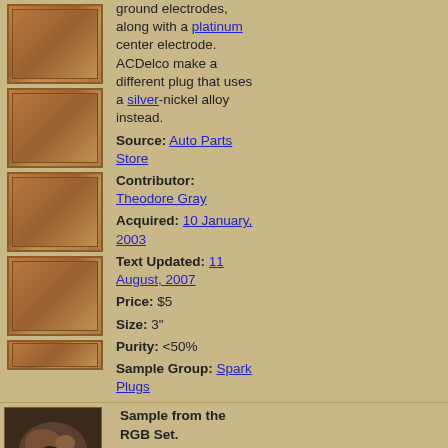[Figure (photo): Four wood-grain texture thumbnail images stacked vertically on the left side]
ground electrodes, along with a platinum center electrode. ACDelco make a different plug that uses a silver-nickel alloy instead.
Source: Auto Parts Store
Contributor: Theodore Gray
Acquired: 10 January, 2003
Text Updated: 11 August, 2007
Price: $5
Size: 3"
Purity: <50%
Sample Group: Spark Plugs
[Figure (photo): Photo of a dark mineral or metal sample, appears to be a chunk of nickel or similar metal]
Sample from the RGB Set. The Red Green and Blue company in